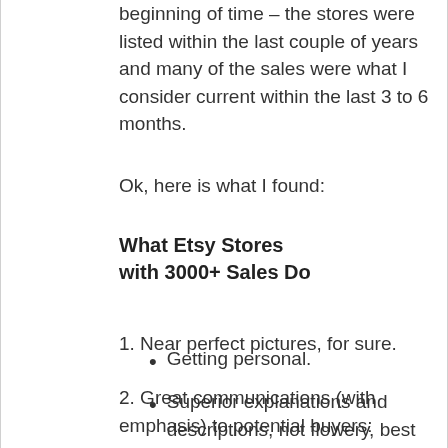beginning of time – the stores were listed within the last couple of years and many of the sales were what I consider current within the last 3 to 6 months.
Ok, here is what I found:
What Etsy Stores with 3000+ Sales Do
1. Near perfect pictures, for sure.
2. Great communications (with emphasis) to potential buyers:
Getting personal.
Superior explanations and descriptions, not flowery, best on